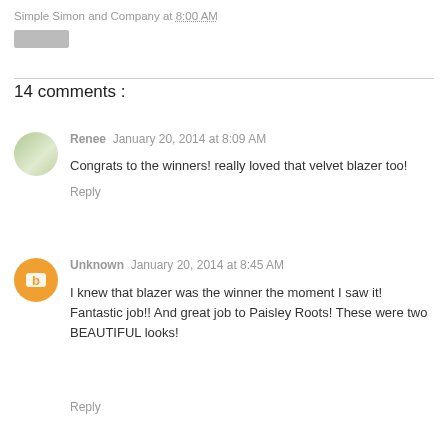Simple Simon and Company at 8:00 AM
[Figure (other): Gray button/badge element]
14 comments :
Renee  January 20, 2014 at 8:09 AM
Congrats to the winners! really loved that velvet blazer too!
Reply
Unknown  January 20, 2014 at 8:45 AM
I knew that blazer was the winner the moment I saw it! Fantastic job!! And great job to Paisley Roots! These were two BEAUTIFUL looks!
Reply